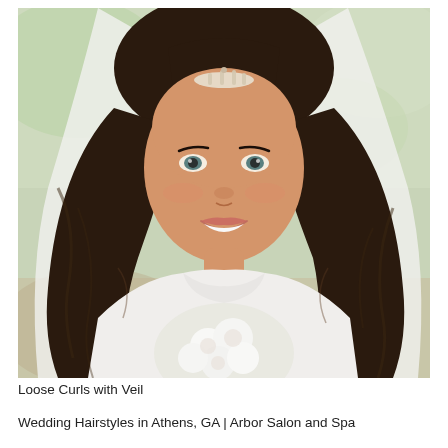[Figure (photo): A bride with long, loose curly dark brown hair wearing a white strapless wedding dress and a white veil with a crystal tiara/hair accessory. She is holding a white floral bouquet and smiling. The background is softly blurred green and beige outdoor scenery.]
Loose Curls with Veil
Wedding Hairstyles in Athens, GA | Arbor Salon and Spa